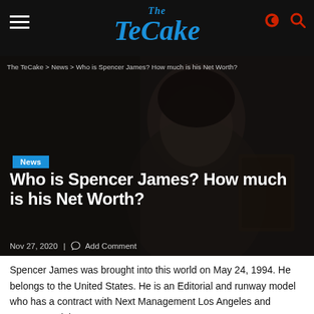The TeCake
The TeCake > News > Who is Spencer James? How much is his Net Worth?
[Figure (photo): Dark moody photo of young man Spencer James looking at a card/phone, with tattoos visible]
News
Who is Spencer James? How much is his Net Worth?
Nov 27, 2020 | Add Comment
Spencer James was brought into this world on May 24, 1994. He belongs to the United States. He is an Editorial and runway model who has a contract with Next Management Los Angeles and Heroes Model Management.